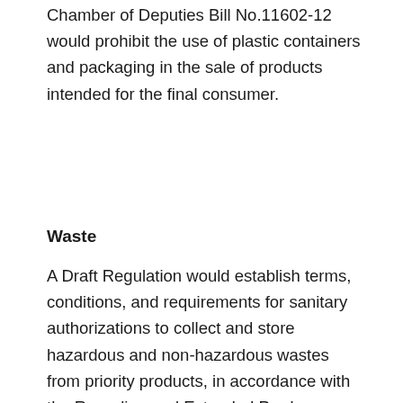Chamber of Deputies Bill No.11602-12 would prohibit the use of plastic containers and packaging in the sale of products intended for the final consumer.
Waste
A Draft Regulation would establish terms, conditions, and requirements for sanitary authorizations to collect and store hazardous and non-hazardous wastes from priority products, in accordance with the Recycling and Extended Producer Responsibility Law (No. 20.920).
Water
Decree No. 680/2018 approves the 22nd edition of